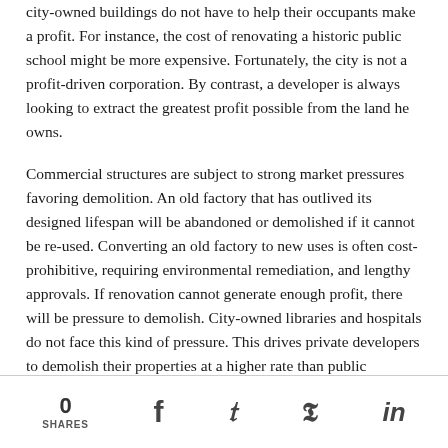city-owned buildings do not have to help their occupants make a profit. For instance, the cost of renovating a historic public school might be more expensive. Fortunately, the city is not a profit-driven corporation. By contrast, a developer is always looking to extract the greatest profit possible from the land he owns.
Commercial structures are subject to strong market pressures favoring demolition. An old factory that has outlived its designed lifespan will be abandoned or demolished if it cannot be re-used. Converting an old factory to new uses is often cost-prohibitive, requiring environmental remediation, and lengthy approvals. If renovation cannot generate enough profit, there will be pressure to demolish. City-owned libraries and hospitals do not face this kind of pressure. This drives private developers to demolish their properties at a higher rate than public
0 SHARES